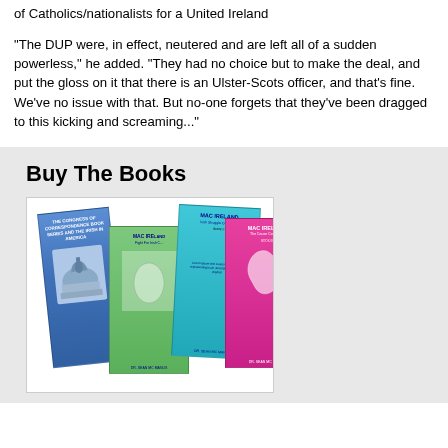of Catholics/nationalists for a United Ireland
“The DUP were, in effect, neutered and are left all of a sudden powerless,” he added. “They had no choice but to make the deal, and put the gloss on it that there is an Ulster-Scots officer, and that’s fine. We’ve no issue with that. But no-one forgets that they’ve been dragged to this kicking and screaming...”
Buy The Books
[Figure (photo): Four MAC Ireland book covers displayed together: a blue book with US Capitol building, a green book titled 'MAC IRELAND - Fight For Irish C...', a cyan/teal book titled 'MAC IRELAND - Irish Struggle Continues', and a pink/magenta book titled 'MAC IRELAND - The Cause Continues'. All authored by DR. SEAN MC MANUS.]